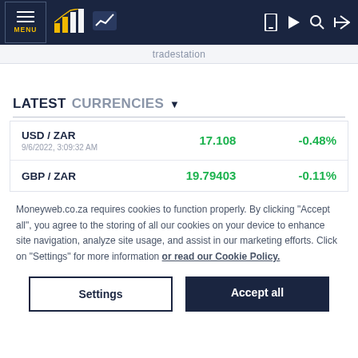MENU | [logo] | [chart icon] | [mobile icon] | [play icon] | [search icon] | [login icon]
tradestation
LATEST CURRENCIES
| Pair | Value | Change |
| --- | --- | --- |
| USD / ZAR
9/6/2022, 3:09:32 AM | 17.108 | -0.48% |
| GBP / ZAR | 19.79403 | -0.11% |
Moneyweb.co.za requires cookies to function properly. By clicking "Accept all", you agree to the storing of all our cookies on your device to enhance site navigation, analyze site usage, and assist in our marketing efforts. Click on "Settings" for more information or read our Cookie Policy.
Settings
Accept all